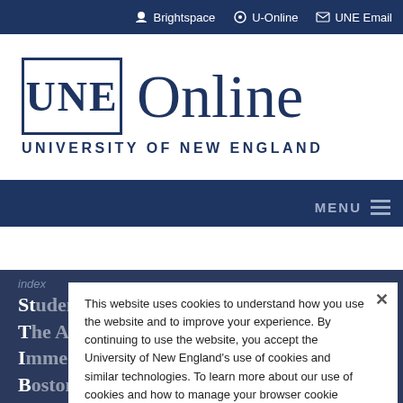Brightspace   U-Online   UNE Email
[Figure (logo): UNE Online – University of New England logo. Blue box with UNE text alongside large 'Online' text and 'UNIVERSITY OF NEW ENGLAND' below.]
MENU
index
Student Accreditation...
The Accreditation...
Immediate Opening...
Boston University's
This website uses cookies to understand how you use the website and to improve your experience. By continuing to use the website, you accept the University of New England's use of cookies and similar technologies. To learn more about our use of cookies and how to manage your browser cookie settings, please review our Privacy Notice.
Yes